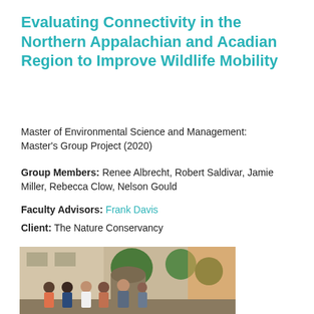Evaluating Connectivity in the Northern Appalachian and Acadian Region to Improve Wildlife Mobility
Master of Environmental Science and Management: Master's Group Project (2020)
Group Members: Renee Albrecht, Robert Saldivar, Jamie Miller, Rebecca Clow, Nelson Gould
Faculty Advisors: Frank Davis
Client: The Nature Conservancy
[Figure (photo): Group photo of five students standing outdoors in front of a building with trees and warm sunset lighting. A scroll-up button appears to the right.]